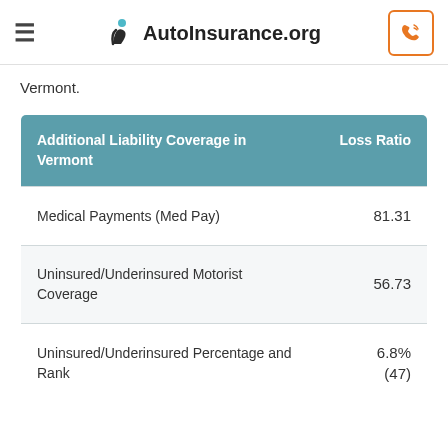AutoInsurance.org
Vermont.
| Additional Liability Coverage in Vermont | Loss Ratio |
| --- | --- |
| Medical Payments (Med Pay) | 81.31 |
| Uninsured/Underinsured Motorist Coverage | 56.73 |
| Uninsured/Underinsured Percentage and Rank | 6.8% (47) |